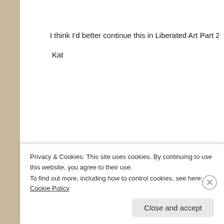I think I'd better continue this in Liberated Art Part 2! Continue on next post, p
Kat
Advertisements
[Figure (screenshot): Jetpack advertisement banner with green background showing logo and text 'The best real-time WordPress backup']
Privacy & Cookies: This site uses cookies. By continuing to use this website, you agree to their use.
To find out more, including how to control cookies, see here: Cookie Policy